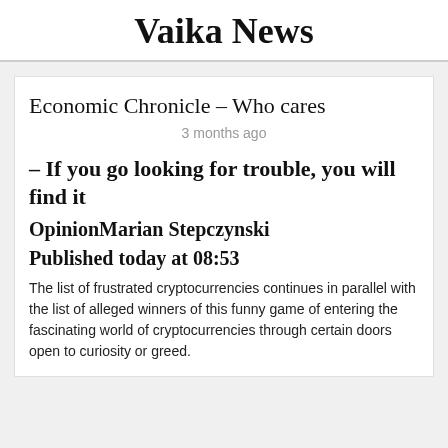Vaika News
Economic Chronicle – Who cares
3 months ago
– If you go looking for trouble, you will find it
OpinionMarian Stepczynski
Published today at 08:53
The list of frustrated cryptocurrencies continues in parallel with the list of alleged winners of this funny game of entering the fascinating world of cryptocurrencies through certain doors open to curiosity or greed.